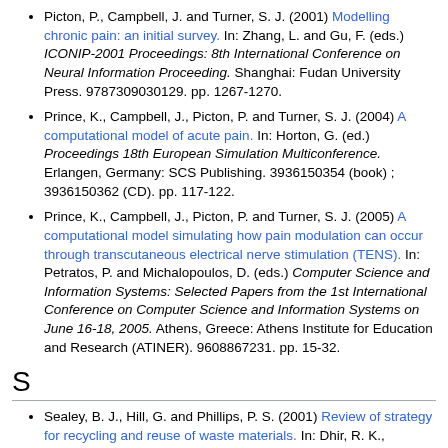Picton, P., Campbell, J. and Turner, S. J. (2001) Modelling chronic pain: an initial survey. In: Zhang, L. and Gu, F. (eds.) ICONIP-2001 Proceedings: 8th International Conference on Neural Information Proceeding. Shanghai: Fudan University Press. 9787309030129. pp. 1267-1270.
Prince, K., Campbell, J., Picton, P. and Turner, S. J. (2004) A computational model of acute pain. In: Horton, G. (ed.) Proceedings 18th European Simulation Multiconference. Erlangen, Germany: SCS Publishing. 3936150354 (book) ; 3936150362 (CD). pp. 117-122.
Prince, K., Campbell, J., Picton, P. and Turner, S. J. (2005) A computational model simulating how pain modulation can occur through transcutaneous electrical nerve stimulation (TENS). In: Petratos, P. and Michalopoulos, D. (eds.) Computer Science and Information Systems: Selected Papers from the 1st International Conference on Computer Science and Information Systems on June 16-18, 2005. Athens, Greece: Athens Institute for Education and Research (ATINER). 9608867231. pp. 15-32.
S
Sealey, B. J., Hill, G. and Phillips, P. S. (2001) Review of strategy for recycling and reuse of waste materials. In: Dhir, R. K., Limbachiya, M. C. and McCarthy, M. J. (eds.) Recycling and Reuse of Sewage Sludge: Proceedings of the